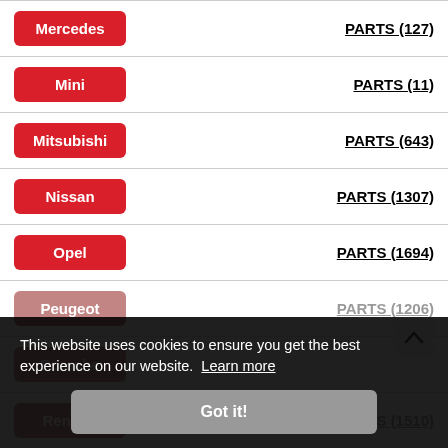Mercedes — PARTS (127)
Mini — PARTS (11)
Mitsubishi — PARTS (643)
Nissan — PARTS (1307)
Opel — PARTS (1694)
Peugeot — PARTS (1206)
Porsche
Renault — PARTS (1510)
This website uses cookies to ensure you get the best experience on our website. Learn more
Got it!